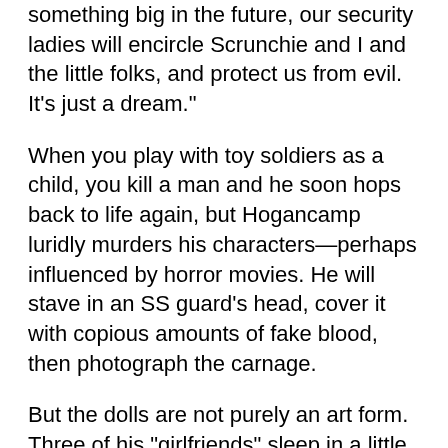something big in the future, our security ladies will encircle Scrunchie and I and the little folks, and protect us from evil. It's just a dream."
When you play with toy soldiers as a child, you kill a man and he soon hops back to life again, but Hogancamp luridly murders his characters—perhaps influenced by horror movies. He will stave in an SS guard's head, cover it with copious amounts of fake blood, then photograph the carnage.
But the dolls are not purely an art form. Three of his "girlfriends" sleep in a little bed next to him at night. Just before he turns out the light, he whispers, "I love you." But is he speaking to them or for them? It's not clear. In any case, this phrase reveals a subtext of Hogancamp's art—a love that is erotic,